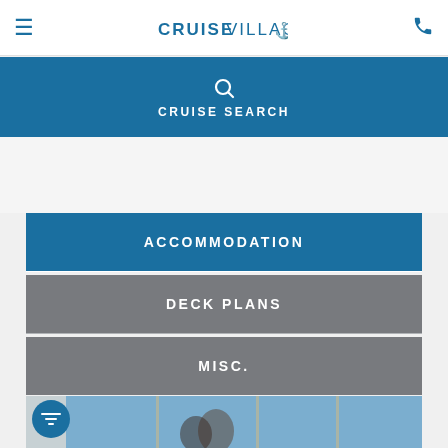≡  CRUISE VILLAGE ⚓  📞
🔍 CRUISE SEARCH
ACCOMMODATION
DECK PLANS
MISC.
[Figure (photo): Couple standing in a cruise ship stateroom with large ocean-view windows]